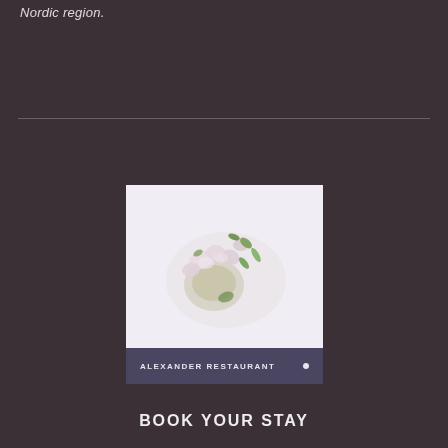Nordic region.
[Figure (photo): A plated gourmet food dish with flowers and green garnishes on a white background, labeled Alexander Restaurant]
ALEXANDER RESTAURANT
BOOK YOUR STAY